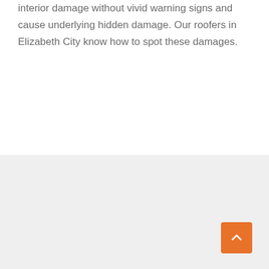interior damage without vivid warning signs and cause underlying hidden damage. Our roofers in Elizabeth City know how to spot these damages.
[Figure (other): Gray background section at the bottom of the page with an orange scroll-to-top button in the lower right corner featuring an upward chevron arrow.]